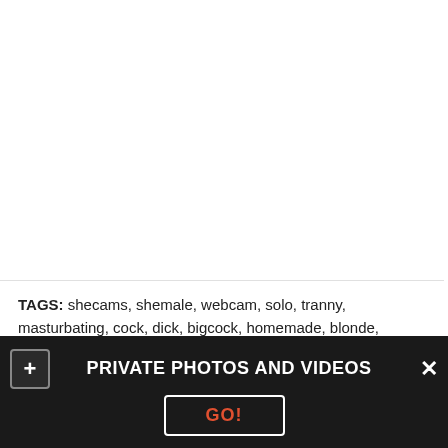TAGS: shecams, shemale, webcam, solo, tranny, masturbating, cock, dick, bigcock, homemade, blonde, handjob, bigdick, show, ts, shehe
[Figure (photo): Exterior photo of a Dick's Sporting Goods store building with trees and glass facade]
PRIVATE PHOTOS AND VIDEOS
GO!